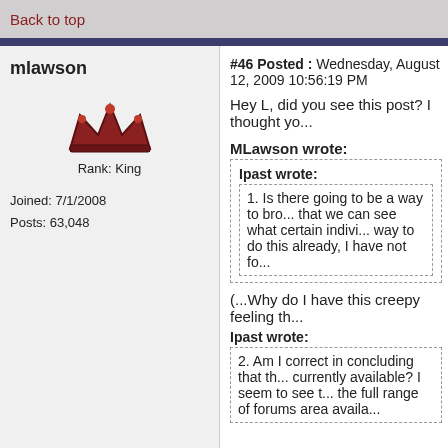Back to top
mlawson
Rank: King
Joined: 7/1/2008
Posts: 63,048
#46 Posted : Wednesday, August 12, 2009 10:56:19 PM
Hey L, did you see this post? I thought yo...
MLawson wrote:
Ipast wrote:
1. Is there going to be a way to bro... that we can see what certain indivi... way to do this already, I have not fo...
(...Why do I have this creepy feeling th...
Ipast wrote:
2. Am I correct in concluding that th... currently available? I seem to see t... the full range of forums area availa...